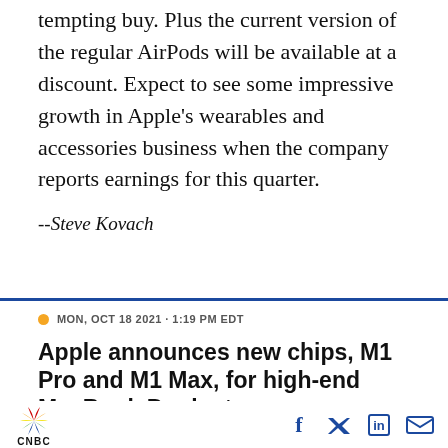tempting buy. Plus the current version of the regular AirPods will be available at a discount. Expect to see some impressive growth in Apple's wearables and accessories business when the company reports earnings for this quarter.
--Steve Kovach
MON, OCT 18 2021 · 1:19 PM EDT
Apple announces new chips, M1 Pro and M1 Max, for high-end MacBook Pro laptops
[Figure (logo): CNBC logo with peacock symbol]
[Figure (infographic): Social media icons: Facebook, Twitter, LinkedIn, Email]